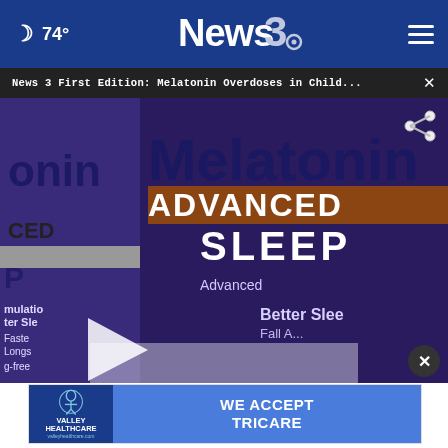74° News3 [hamburger menu]
News 3 First Edition: Melatonin Overdoses in Child... ×
[Figure (screenshot): Close-up photo of Melatonin Advanced Sleep supplement packaging with purple and white branding. Video player overlay with play button. Lower-third chyron reads: MELATONIN OVERDOSES INCREASE 530% IN CHILDREN / EYE ON HEALTH. Share icon top right.]
[Figure (photo): Bottom portion of the melatonin product image showing white bottles with red caps on a surface.]
MELATONIN OVERDOSES INCREASE 530% IN CHILDREN
EYE ON HEALTH
[Figure (logo): Valley Healthcare advertisement: icon of person with body outline, text VALLEY HEALTHCARE on blue background, then WE ACCEPT TRICARE on cyan/blue background.]